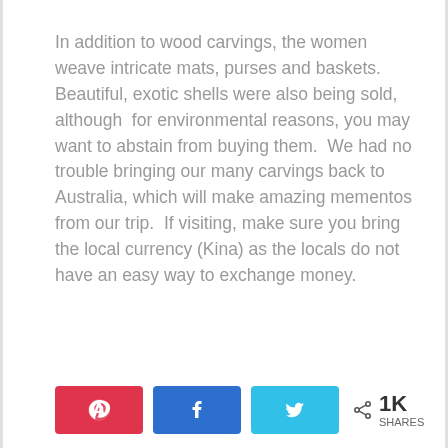In addition to wood carvings, the women weave intricate mats, purses and baskets. Beautiful, exotic shells were also being sold, although  for environmental reasons, you may want to abstain from buying them.  We had no trouble bringing our many carvings back to Australia, which will make amazing mementos from our trip.  If visiting, make sure you bring the local currency (Kina) as the locals do not have an easy way to exchange money.
[Figure (infographic): Social share bar with Pinterest (red), Facebook (blue), Twitter (light blue) buttons, and share count showing 1K SHARES]